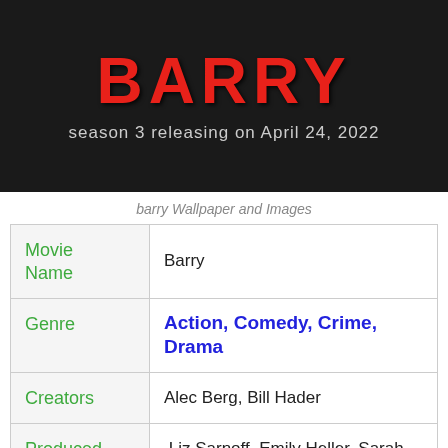[Figure (photo): Dark promotional image for the TV show Barry with large red bold text 'BARRY' and subtitle 'season 3 releasing on April 24, 2022']
barry Wallpaper and Images
| Movie Name | Barry |
| Genre | Action, Comedy, Crime, Drama |
| Creators | Alec Berg, Bill Hader |
| Produced by | Liz Sarnoff, Emily Heller, Sarah Solemani |
| Release Date | March 25, 2018 – present |